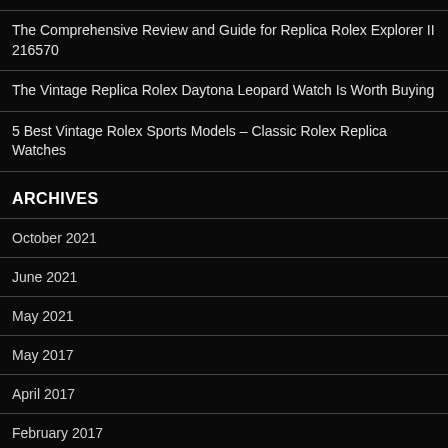The Comprehensive Review and Guide for Replica Rolex Explorer II 216570
The Vintage Replica Rolex Daytona Leopard Watch Is Worth Buying
5 Best Vintage Rolex Sports Models – Classic Rolex Replica Watches
ARCHIVES
October 2021
June 2021
May 2021
May 2017
April 2017
February 2017